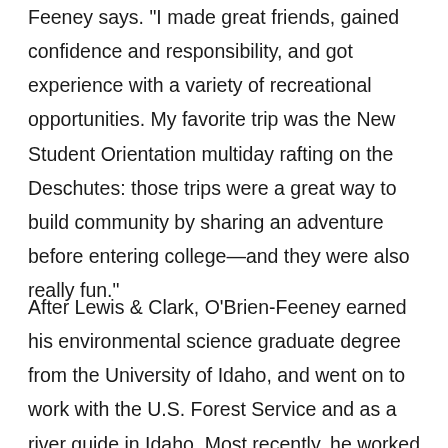Feeney says. "I made great friends, gained confidence and responsibility, and got experience with a variety of recreational opportunities. My favorite trip was the New Student Orientation multiday rafting on the Deschutes: those trips were a great way to build community by sharing an adventure before entering college—and they were also really fun."
After Lewis & Clark, O'Brien-Feeney earned his environmental science graduate degree from the University of Idaho, and went on to work with the U.S. Forest Service and as a river guide in Idaho. Most recently, he worked for the Outdoor Industry